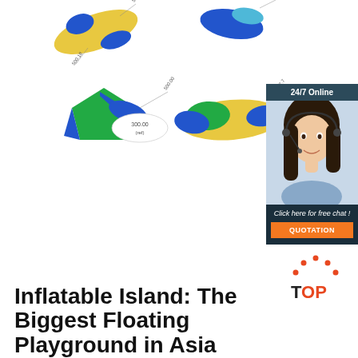[Figure (engineering-diagram): 3D CAD engineering diagram showing multiple inflatable island pieces/modules in blue, green, yellow colors with dimension annotations. Four separate component views shown with measurements.]
[Figure (illustration): Customer service chat widget. Dark navy background with '24/7 Online' header, photo of smiling woman with headset, 'Click here for free chat!' text and orange QUOTATION button.]
[Figure (logo): TOP logo with orange triangle/arch shape made of dots above the text 'TOP' in orange with 'T' in dark/black.]
Inflatable Island: The Biggest Floating Playground in Asia